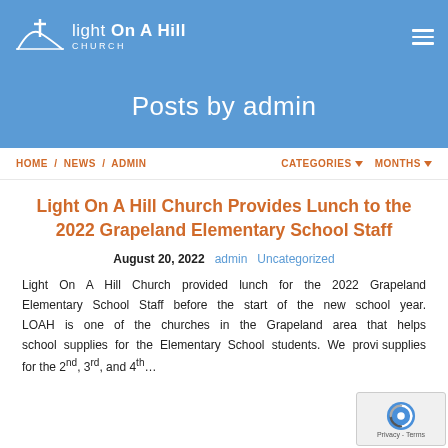[Figure (logo): Light On A Hill Church logo with cross and hill graphic, white text on blue background]
Posts by admin
HOME / NEWS / ADMIN | CATEGORIES ▾ MONTHS ▾
Light On A Hill Church Provides Lunch to the 2022 Grapeland Elementary School Staff
August 20, 2022   admin   Uncategorized
Light On A Hill Church provided lunch for the 2022 Grapeland Elementary School Staff before the start of the new school year. LOAH is one of the churches in the Grapeland area that helps school supplies for the Elementary School students. We provi... supplies for the 2nd, 3rd, and 4th...